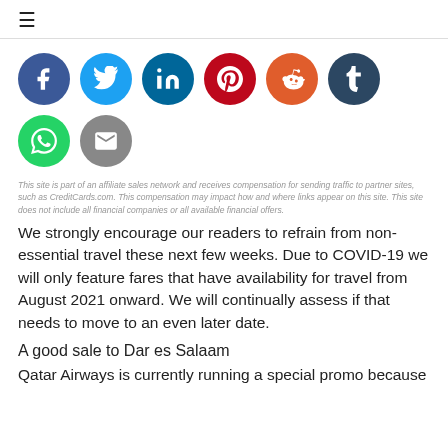≡
[Figure (infographic): Social media sharing icons: Facebook (dark blue), Twitter (light blue), LinkedIn (teal), Pinterest (red), Reddit (orange), Tumblr (dark navy), WhatsApp (green), Email (gray)]
This site is part of an affiliate sales network and receives compensation for sending traffic to partner sites, such as CreditCards.com. This compensation may impact how and where links appear on this site. This site does not include all financial companies or all available financial offers.
We strongly encourage our readers to refrain from non-essential travel these next few weeks. Due to COVID-19 we will only feature fares that have availability for travel from August 2021 onward. We will continually assess if that needs to move to an even later date.
A good sale to Dar es Salaam
Qatar Airways is currently running a special promo because